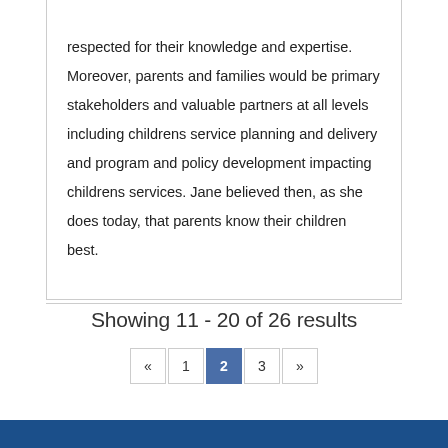respected for their knowledge and expertise. Moreover, parents and families would be primary stakeholders and valuable partners at all levels including childrens service planning and delivery and program and policy development impacting childrens services. Jane believed then, as she does today, that parents know their children best.
Showing 11 - 20 of 26 results
« 1 2 3 »